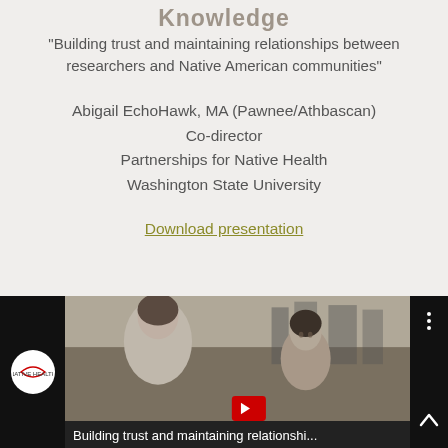Knowledge
“Building trust and maintaining relationships between researchers and Native American communities”
Abigail EchoHawk, MA (Pawnee/Athbascan)
Co-director
Partnerships for Native Health
Washington State University
Download presentation
[Figure (screenshot): YouTube video thumbnail showing a black and white photograph of a woman and child outdoors, with video title 'Building trust and maintaining relationshi...' in white text on dark bar, channel logo on left, three-dot menu on right, and up chevron in bottom right corner.]